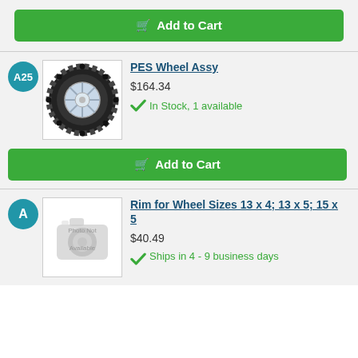[Figure (other): Add to Cart button (green) at top of page]
[Figure (other): Product listing: A25 badge, wheel assembly tire photo, PES Wheel Assy title, $164.34 price, In Stock 1 available, Add to Cart button]
[Figure (other): Product listing: A badge, photo not available image, Rim for Wheel Sizes 13 x 4; 13 x 5; 15 x 5 title, $40.49 price, Ships in 4-9 business days]